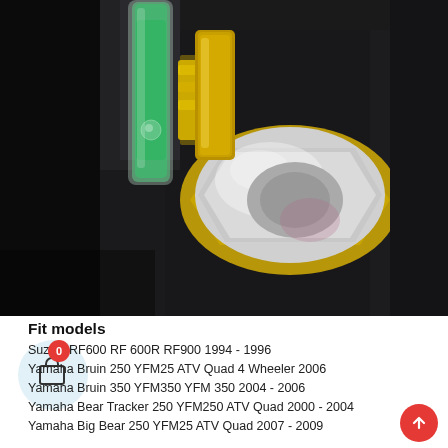[Figure (photo): Close-up photo of a motorcycle/ATV carburetor or fuel component showing a translucent green fuel sight glass/tube and a large silver hex bolt/nut with gold-colored brass fittings against a dark black body]
Fit models
Suzuki RF600 RF 600R RF900 1994 - 1996
Yamaha Bruin 250 YFM25 ATV Quad 4 Wheeler 2006
Yamaha Bruin 350 YFM350 YFM 350 2004 - 2006
Yamaha Bear Tracker 250 YFM250 ATV Quad 2000 - 2004
Yamaha Big Bear 250 YFM25 ATV Quad 2007 - 2009